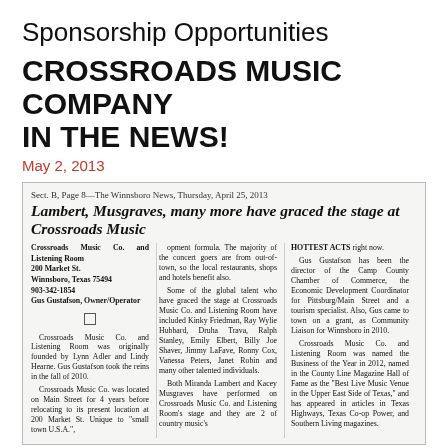Sponsorship Opportunities
CROSSROADS MUSIC COMPANY IN THE NEWS!
May 2, 2013
[Figure (screenshot): Newspaper clipping from The Winnsboro News, Thursday, April 25, 2013. Headline: Lambert, Musgraves, many more have graced the stage at Crossroads Music. Three-column article about Crossroads Music Co. and Listening Room.]